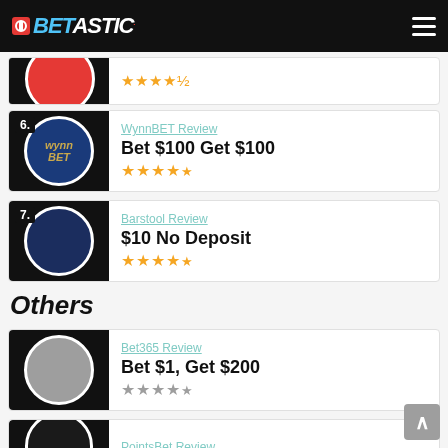BETASTIC.
[Figure (screenshot): Partial top card with red circle logo and 4.5 star rating]
6. WynnBET Review
Bet $100 Get $100
★★★★½
7. Barstool Review
$10 No Deposit
★★★★½
Others
Bet365 Review
Bet $1, Get $200
★★★★
PointsBet Review
-